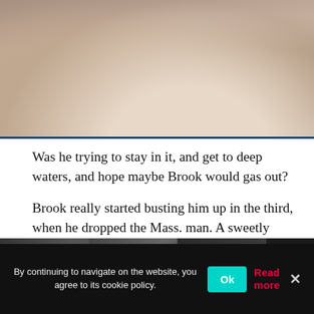[Figure (photo): Cropped photo of a boxer's torso and hands, dark background]
Was he trying to stay in it, and get to deep waters, and hope maybe Brook would gas out?
Brook really started busting him up in the third, when he dropped the Mass. man. A sweetly timed jab, with a dab of a hook added in, sent DeLuca down, and rendered him unable to beat the count, in the seventh.
[Figure (photo): DAZN advertisement banner showing boxing fighters' faces and DAZN logo]
By continuing to navigate on the website, you agree to its cookie policy.